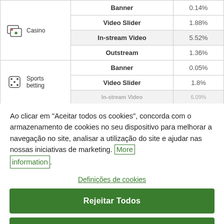| Category | Ad Type | Rate |
| --- | --- | --- |
| Casino | Banner | 0.14% |
| Casino | Video Slider | 1.88% |
| Casino | In-stream Video | 5.52% |
| Casino | Outstream | 1.36% |
| Sports betting | Banner | 0.05% |
| Sports betting | Video Slider | 1.8% |
| Sports betting | In-stream Video | 6.09% |
Ao clicar em "Aceitar todos os cookies", concorda com o armazenamento de cookies no seu dispositivo para melhorar a navegação no site, analisar a utilização do site e ajudar nas nossas iniciativas de marketing. More information
Definições de cookies
Rejeitar Todos
Aceitar todos os cookies